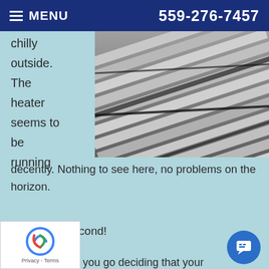MENU  559-276-7457
[Figure (photo): Close-up photo of metal air filter or HVAC vent louvers, showing parallel metallic slats at an angle, black and silver tones.]
chilly outside. The heater seems to be running decently. Nothing to see here, no problems on the horizon.
Wait just a second!
you go deciding that your heater is w...g enough," ask yourself this: